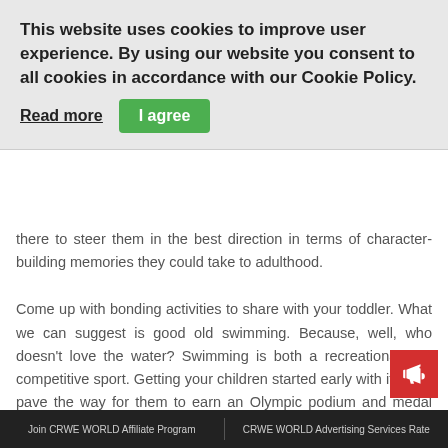This website uses cookies to improve user experience. By using our website you consent to all cookies in accordance with our Cookie Policy.
Read more  |  I agree
there to steer them in the best direction in terms of character-building memories they could take to adulthood.
Come up with bonding activities to share with your toddler. What we can suggest is good old swimming. Because, well, who doesn't love the water? Swimming is both a recreational and competitive sport. Getting your children started early with it could pave the way for them to earn an Olympic podium and medal eventually. Or they can do it just for fun. Either way, you're there to provide support.
Join CRWE WORLD Affiliate Program  |  CRWE WORLD Advertising Services Rate